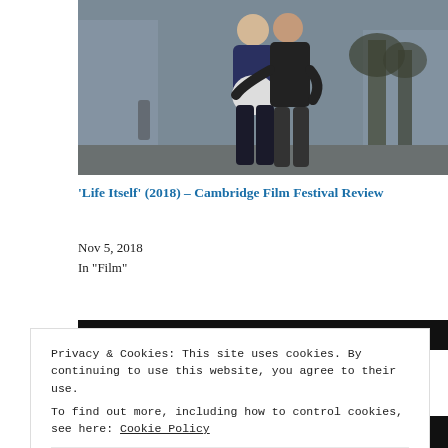[Figure (photo): Two people embracing on a city street, the woman visibly pregnant, wearing a navy jacket; a man behind her with arms around her; trees and urban setting in background.]
'Life Itself' (2018) – Cambridge Film Festival Review
Nov 5, 2018
In "Film"
[Figure (photo): Partial view of a dark festival signage/marquee image.]
Privacy & Cookies: This site uses cookies. By continuing to use this website, you agree to their use.
To find out more, including how to control cookies, see here: Cookie Policy
Close and accept
[Figure (photo): Bottom partial image showing 'FESTIVAL' text on a dark background.]